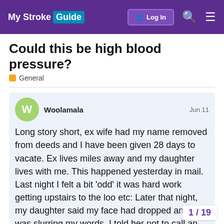My Stroke Guide | Log In
Could this be high blood pressure?
General
Woolamala  Jun 11
Long story short, ex wife had my name removed from deeds and I have been given 28 days to vacate. Ex lives miles away and my daughter lives with me. This happened yesterday in mail. Last night I felt a bit 'odd' it was hard work getting upstairs to the loo etc: Later that night, my daughter said my face had dropped and I was slurring my words. I told her not to call an ambulance (especially on a Friday night in Torbay). This morning it felt like my bit around the back and it felt like I
1 / 19